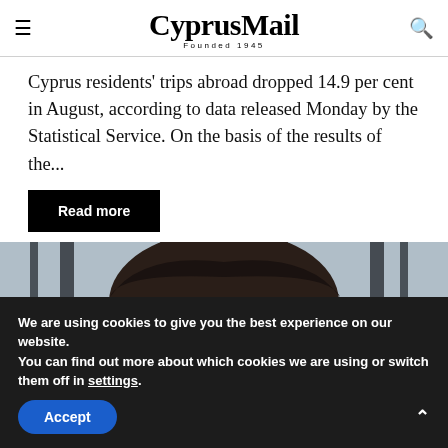CyprusMail — Founded 1945
Cyprus residents' trips abroad dropped 14.9 per cent in August, according to data released Monday by the Statistical Service. On the basis of the results of the...
Read more
[Figure (photo): Close-up photo of a man's head with dark hair, shot from slightly below, against a blurred grey background.]
We are using cookies to give you the best experience on our website.
You can find out more about which cookies we are using or switch them off in settings.
Accept